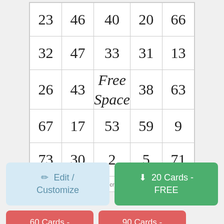| 23 | 46 | 40 | 20 | 66 |
| 32 | 47 | 33 | 31 | 13 |
| 26 | 43 | Free Space | 38 | 63 |
| 67 | 17 | 53 | 59 | 9 |
| 73 | 30 | 2 | 5 | 71 |
© printablecreative.com
✏ Edit / Customize
⬇ 20 Cards - FREE
60 Cards -
90 Cards -